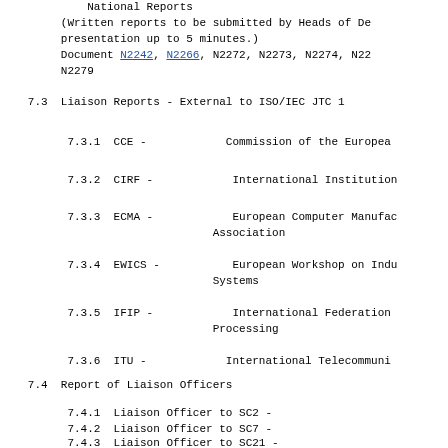7.2  National Reports
(Written reports to be submitted by Heads of Delegation;
presentation up to 5 minutes.)
Document N2242, N2266, N2272, N2273, N2274, N2...
N2279
7.3  Liaison Reports - External to ISO/IEC JTC 1
7.3.1  CCE -        Commission of the Europe...
7.3.2  CIRF -       International Institution...
7.3.3  ECMA -       European Computer Manufac...
Association
7.3.4  EWICS -      European Workshop on Indu...
Systems
7.3.5  IFIP -       International Federation...
Processing
7.3.6  ITU -        International Telecommuni...
7.4  Report of Liaison Officers
7.4.1  Liaison Officer to SC2 -
7.4.2  Liaison Officer to SC7 -
7.4.3  Liaison Officer to SC21 -